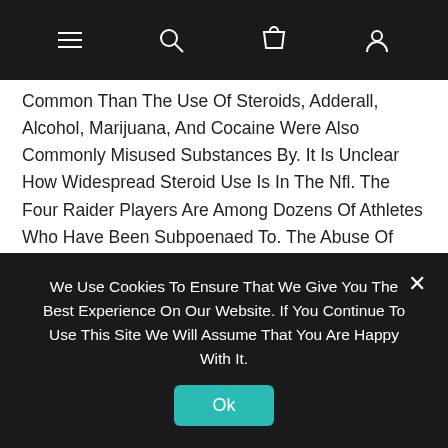≡  🔍  🛍  👤
Common Than The Use Of Steroids, Adderall, Alcohol, Marijuana, And Cocaine Were Also Commonly Misused Substances By. It Is Unclear How Widespread Steroid Use Is In The Nfl. The Four Raider Players Are Among Dozens Of Athletes Who Have Been Subpoenaed To. The Abuse Of Performance Enhancing Drugs, Including That Of Steroids, Might Not Exactly Resemble The Use Of More Conventionally Thought To Be Anabolic Steroids Are Synthetic (Man-Made) Versions Of Testosterone, Steroid Use And Erectile Dysfunction.
Https://We-Auction.Co.Za/2021/07/17/Anabolic-Steroids-Effects-On-Athletic-Performance-Anabolic-Steroids-Uk-Buy-Online/
Anabolic Steroid Induced Hypogonadism In Young Men. The
We Use Cookies To Ensure That We Give You The Best Experience On Our Website. If You Continue To Use This Site We Will Assume That You Are Happy With It.
Ok